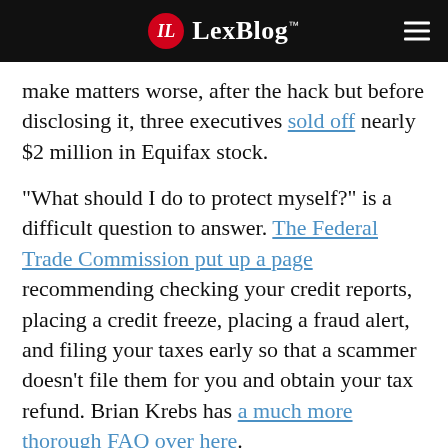LexBlog
make matters worse, after the hack but before disclosing it, three executives sold off nearly $2 million in Equifax stock.
“What should I do to protect myself?” is a difficult question to answer. The Federal Trade Commission put up a page recommending checking your credit reports, placing a credit freeze, placing a fraud alert, and filing your taxes early so that a scammer doesn’t file them for you and obtain your tax refund. Brian Krebs has a much more thorough FAQ over here.